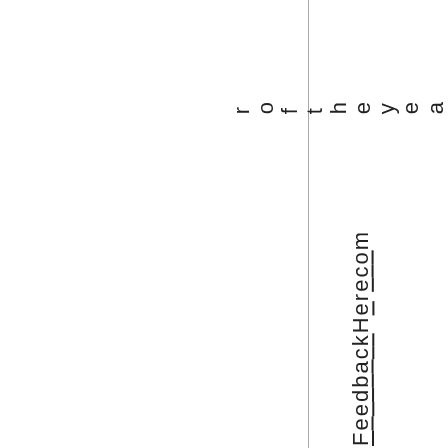r of the year!
Feedback Here com